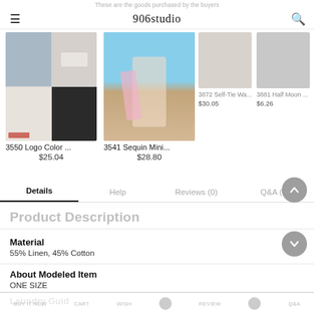These are the goods purchased by the buyers
906studio
[Figure (photo): Product thumbnail: Logo Color hat showing four quadrant grid of hat images on blue/grey checkered background]
3550 Logo Color ...
$25.04
[Figure (photo): Product thumbnail: Sequin Mini bag - woman at beach holding pink sequin tote bag, wearing striped top and jeans]
3541 Sequin Mini...
$28.80
[Figure (photo): Partially visible product: 3872 Self-Tie Wa... $30.05]
[Figure (photo): Partially visible product: 3881 Half Moon ... $6.26]
Details	Help	Reviews (0)	Q&A (0)
Product Description
Material
55% Linen, 45% Cotton
About Modeled Item
ONE SIZE
BUY IT NOW	CART	WISH	REVIEW	Q&A